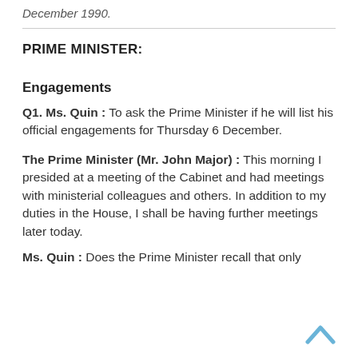December 1990.
PRIME MINISTER:
Engagements
Q1. Ms. Quin : To ask the Prime Minister if he will list his official engagements for Thursday 6 December.
The Prime Minister (Mr. John Major) : This morning I presided at a meeting of the Cabinet and had meetings with ministerial colleagues and others. In addition to my duties in the House, I shall be having further meetings later today.
Ms. Quin : Does the Prime Minister recall that only